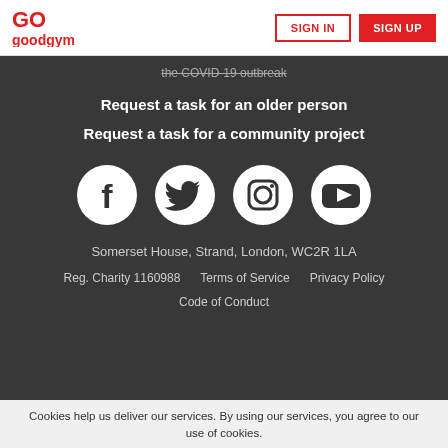goodgym | SIGN IN | SIGN UP
the COVID-19 outbreak
Request a task for an older person
Request a task for a community project
[Figure (illustration): Social media icons: Facebook, Twitter, Instagram, YouTube]
Somerset House, Strand, London, WC2R 1LA
Reg. Charity 1160988   Terms of Service   Privacy Policy
Code of Conduct
Cookies help us deliver our services. By using our services, you agree to our use of cookies.